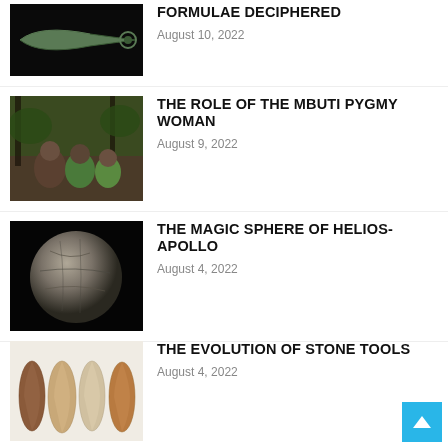[Figure (photo): A bronze or metal curved blade artifact photographed on black background]
FORMULAE DECIPHERED
August 10, 2022
[Figure (photo): Three Mbuti Pygmy people sitting outdoors in a forest setting]
THE ROLE OF THE MBUTI PYGMY WOMAN
August 9, 2022
[Figure (photo): A grey stone sphere with markings on a black background, resembling the Magic Sphere of Helios-Apollo]
THE MAGIC SPHERE OF HELIOS-APOLLO
August 4, 2022
[Figure (photo): Four stone hand axes or tools of varying colors arranged side by side on white background]
THE EVOLUTION OF STONE TOOLS
August 4, 2022